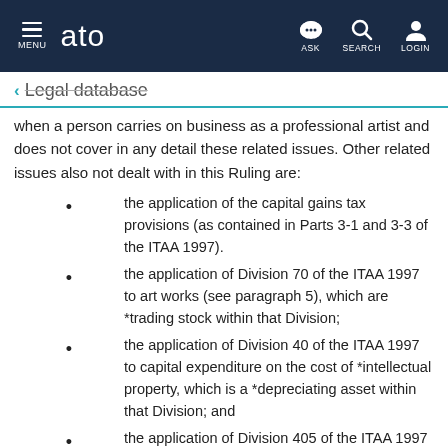MENU | ato | ASK | SEARCH | LOGIN
← Legal database
when a person carries on business as a professional artist and does not cover in any detail these related issues. Other related issues also not dealt with in this Ruling are:
the application of the capital gains tax provisions (as contained in Parts 3-1 and 3-3 of the ITAA 1997).
the application of Division 70 of the ITAA 1997 to art works (see paragraph 5), which are *trading stock within that Division;
the application of Division 40 of the ITAA 1997 to capital expenditure on the cost of *intellectual property, which is a *depreciating asset within that Division; and
the application of Division 405 of the ITAA 1997 as it relates